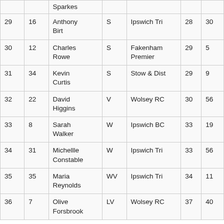|  |  | Sparkes |  |  |  |  |
| 29 | 16 | Anthony Birt | S | Ipswich Tri | 28 | 30 |
| 30 | 12 | Charles Rowe | S | Fakenham Premier | 29 | 5 |
| 31 | 34 | Kevin Curtis | S | Stow & Dist | 29 | 9 |
| 32 | 22 | David Higgins | V | Wolsey RC | 30 | 56 |
| 33 | 8 | Sarah Walker | W | Ipswich BC | 33 | 19 |
| 34 | 31 | Michellle Constable | W | Ipswich Tri | 33 | 56 |
| 35 | 35 | Maria Reynolds | WV | Ipswich Tri | 34 | 11 |
| 36 | 7 | Olive Forsbrook | LV | Wolsey RC | 37 | 40 |